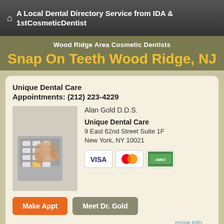A Local Dental Directory Service from IDA & 1stCosmeticDentist
Snap On Teeth Wood Ridge, NJ
Wood Ridge Area Cosmetic Dentists
Unique Dental Care
Appointments: (212) 223-4229
[Figure (photo): Photo of a hand dialing a telephone/keyboard]
Alan Gold D.D.S.
Unique Dental Care
9 East 62nd Street Suite 1F
New York, NY 10021
[Figure (infographic): Payment method icons: Visa, MasterCard, American Express]
Make Appt    Meet Dr. Gold
more info ...